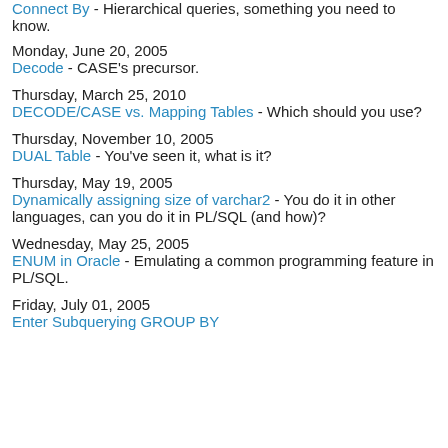Connect By - Hierarchical queries, something you need to know.
Monday, June 20, 2005
Decode - CASE's precursor.
Thursday, March 25, 2010
DECODE/CASE vs. Mapping Tables - Which should you use?
Thursday, November 10, 2005
DUAL Table - You've seen it, what is it?
Thursday, May 19, 2005
Dynamically assigning size of varchar2 - You do it in other languages, can you do it in PL/SQL (and how)?
Wednesday, May 25, 2005
ENUM in Oracle - Emulating a common programming feature in PL/SQL.
Friday, July 01, 2005
Enter Subquerying GROUP BY